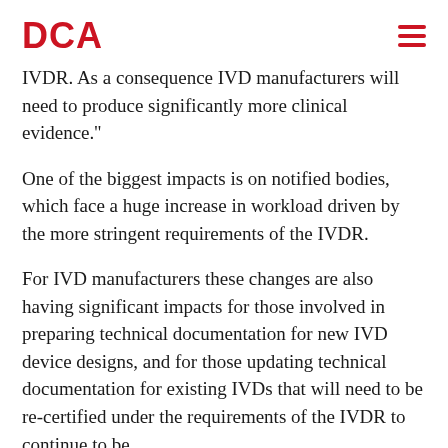DCA
IVDR. As a consequence IVD manufacturers will need to produce significantly more clinical evidence."
One of the biggest impacts is on notified bodies, which face a huge increase in workload driven by the more stringent requirements of the IVDR.
For IVD manufacturers these changes are also having significant impacts for those involved in preparing technical documentation for new IVD device designs, and for those updating technical documentation for existing IVDs that will need to be re-certified under the requirements of the IVDR to continue to be